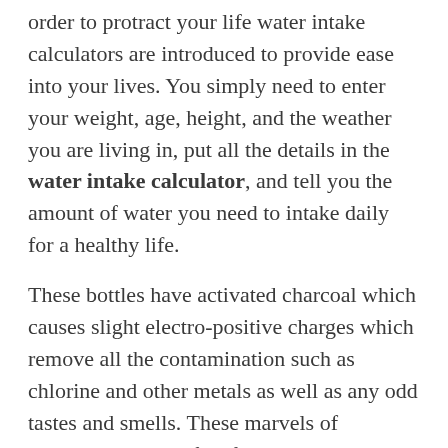order to protract your life water intake calculators are introduced to provide ease into your lives. You simply need to enter your weight, age, height, and the weather you are living in, put all the details in the water intake calculator, and tell you the amount of water you need to intake daily for a healthy life.
These bottles have activated charcoal which causes slight electro-positive charges which remove all the contamination such as chlorine and other metals as well as any odd tastes and smells. These marvels of technology are perfect for travelling. You can also consider solid block carbon filters for home use.
It is good to have information when shopping for any product. With this in mind, there are factors that you can evaluate and consider as you shop for the best filtered water bottles. We will now look at each of these factors.